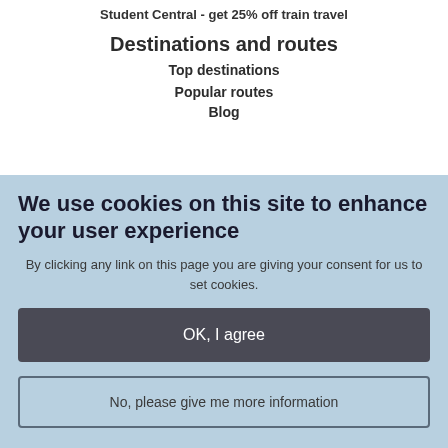Student Central - get 25% off train travel
Destinations and routes
Top destinations
Popular routes
Blog
We use cookies on this site to enhance your user experience
By clicking any link on this page you are giving your consent for us to set cookies.
OK, I agree
No, please give me more information